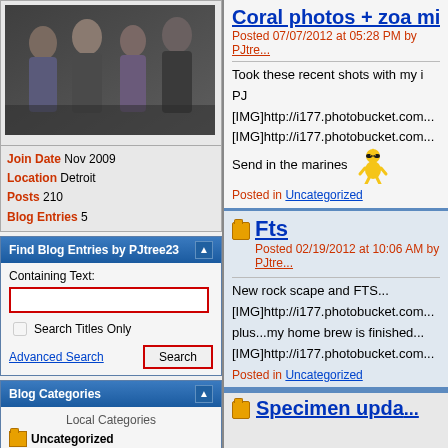[Figure (photo): Profile photo of group of four people at a social event]
Join Date Nov 2009
Location Detroit
Posts 210
Blog Entries 5
Find Blog Entries by PJtree23
Containing Text:
Search Titles Only
Advanced Search | Search
Blog Categories
Local Categories
Uncategorized
Recent Comments
Coral photos + zoa migration! by shallowskiff
new rock scape by fpv930
Coral photos + zoa mig...
Posted 07/07/2012 at 05:28 PM by PJtre...
Took these recent shots with my i
PJ
[IMG]http://i177.photobucket.com...
[IMG]http://i177.photobucket.com...
Send in the marines
Posted in Uncategorized
Fts
Posted 02/19/2012 at 10:06 AM by PJtre...
New rock scape and FTS...
[IMG]http://i177.photobucket.com...
plus...my home brew is finished...
[IMG]http://i177.photobucket.com...
Posted in Uncategorized
Specimen upda...